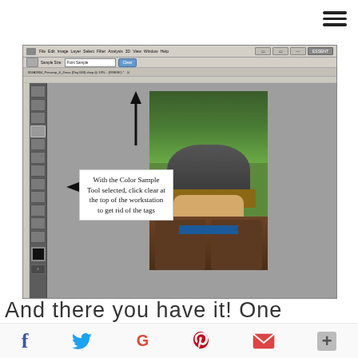[Figure (screenshot): Screenshot of Adobe Photoshop with a photo of a young man in a winter hat and jacket. Two arrows point to the tool panel and the Clear button in the options bar. A white callout box reads: 'With the Color Sample Tool selected, click clear at the top of the workstation to get rid of the tags']
And there you have it! One
[Figure (other): Social media icons row: Facebook, Twitter, Google, Pinterest, Email, Plus]